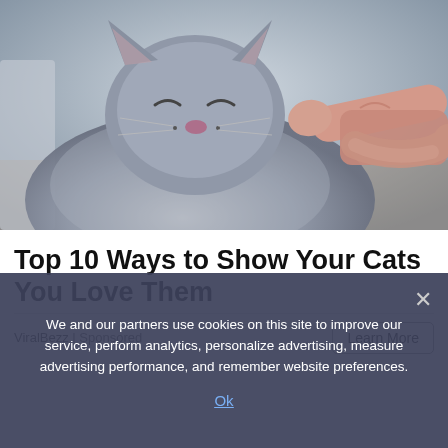[Figure (photo): A grey British Shorthair cat with eyes closed contentedly while a human hand gently scratches its chin/face. The cat appears happy and relaxed.]
Top 10 Ways to Show Your Cats You Love Them
ViralBezz | Sponsored
Learn More
We and our partners use cookies on this site to improve our service, perform analytics, personalize advertising, measure advertising performance, and remember website preferences.
Ok